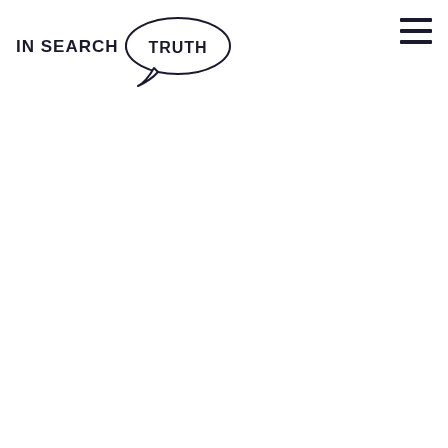[Figure (logo): Logo reading 'IN SEARCH OF THE TRUTH' where the word TRUTH is inside a speech bubble drawn with a black oval outline and a small tail pointing down-left.]
[Figure (other): Hamburger menu icon: three horizontal black lines stacked vertically, positioned in the top-right corner.]